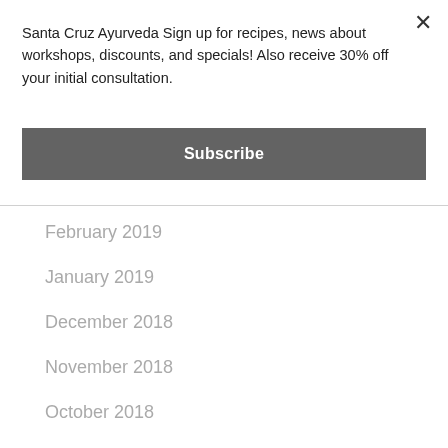Santa Cruz Ayurveda Sign up for recipes, news about workshops, discounts, and specials! Also receive 30% off your initial consultation.
Subscribe
February 2019
January 2019
December 2018
November 2018
October 2018
September 2018
August 2018